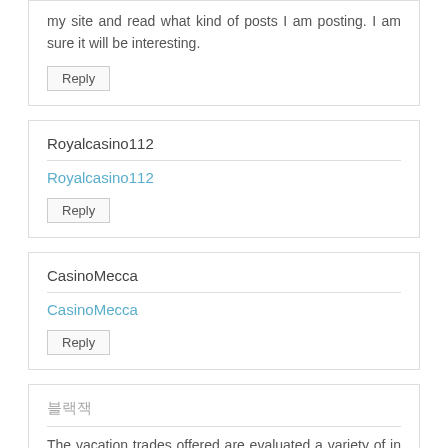my site and read what kind of posts I am posting. I am sure it will be interesting.
Reply
Royalcasino112
Royalcasino112
Reply
CasinoMecca
CasinoMecca
Reply
블랙잭
The vacation trades offered are evaluated a variety of in the chosen and simply good value all around the world. Those hostels are normally